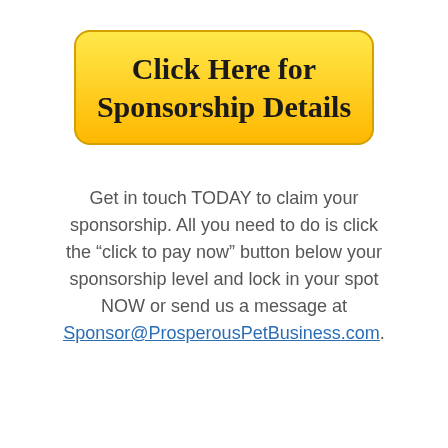[Figure (other): Yellow gradient button with rounded corners displaying 'Click Here for Sponsorship Details' in bold handwritten/comic font]
Get in touch TODAY to claim your sponsorship. All you need to do is click the “click to pay now” button below your sponsorship level and lock in your spot NOW or send us a message at Sponsor@ProsperousPetBusiness.com.